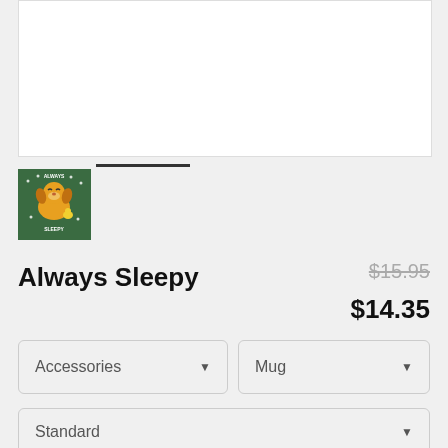[Figure (photo): White product image area for Always Sleepy merchandise]
[Figure (illustration): Thumbnail image with green background showing Always Sleepy dog character logo with text ALWAYS SLEEPY]
Always Sleepy
$15.95 $14.35
Accessories ▼
Mug ▼
Standard ▼